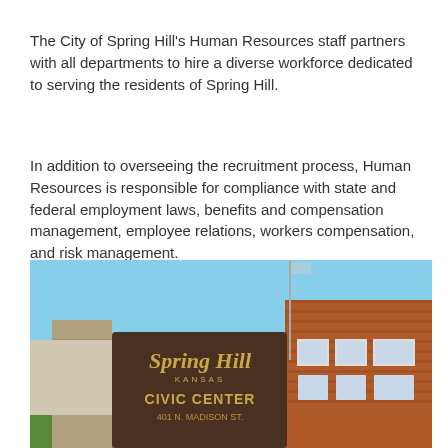The City of Spring Hill's Human Resources staff partners with all departments to hire a diverse workforce dedicated to serving the residents of Spring Hill.
In addition to overseeing the recruitment process, Human Resources is responsible for compliance with state and federal employment laws, benefits and compensation management, employee relations, workers compensation, and risk management.
[Figure (photo): Photo of the Spring Hill Kansas Civic Center sign, a dark brown metal sign on a stone pillar reading 'Spring Hill KANSAS CIVIC CENTER 401 N. MADISON ST.' with a brick building visible in the background and a flagpole.]